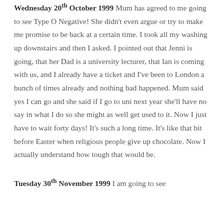Wednesday 20th October 1999 Mum has agreed to me going to see Type O Negative! She didn't even argue or try to make me promise to be back at a certain time. I took all my washing up downstairs and then I asked. I pointed out that Jenni is going, that her Dad is a university lecturer, that Ian is coming with us, and I already have a ticket and I've been to London a bunch of times already and nothing bad happened. Mum said yes I can go and she said if I go to uni next year she'll have no say in what I do so she might as well get used to it. Now I just have to wait forty days! It's such a long time. It's like that bit before Easter when religious people give up chocolate. Now I actually understand how tough that would be.
Tuesday 30th November 1999 I am going to see